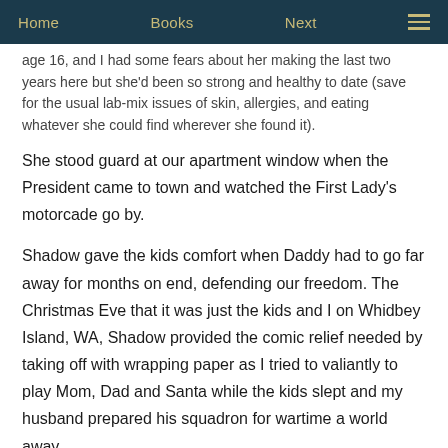Home   Books   Next
age 16, and I had some fears about her making the last two years here but she'd been so strong and healthy to date (save for the usual lab-mix issues of skin, allergies, and eating whatever she could find wherever she found it).
She stood guard at our apartment window when the President came to town and watched the First Lady's motorcade go by.
Shadow gave the kids comfort when Daddy had to go far away for months on end, defending our freedom. The Christmas Eve that it was just the kids and I on Whidbey Island, WA, Shadow provided the comic relief needed by taking off with wrapping paper as I tried to valiantly to play Mom, Dad and Santa while the kids slept and my husband prepared his squadron for wartime a world away.
Shadow was the Gandhi of dogs. Little kids flocked to